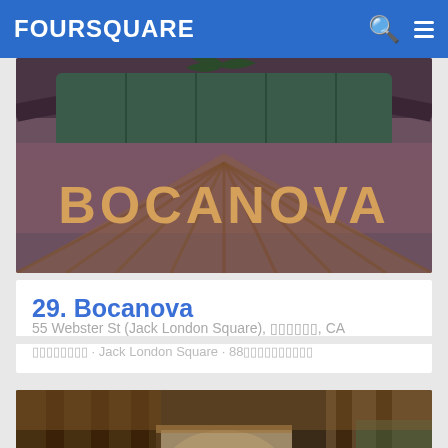FOURSQUARE
[Figure (photo): Exterior photo of Bocanova restaurant sign — large tan/gold letters spelling BOCANOVA on a building facade with arched windows and palm trees visible through the glass]
29. Bocanova
55 Webster St (Jack London Square), Oakland, CA
American · Jack London Square · 88 tips and reviews
[Figure (photo): Interior photo of Bocanova restaurant showing wooden architectural beams, people standing and sitting, warm ambient lighting with a corridor-like space]